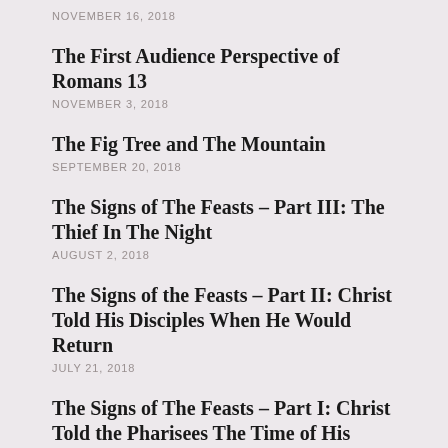NOVEMBER 16, 2018
The First Audience Perspective of Romans 13
NOVEMBER 3, 2018
The Fig Tree and The Mountain
SEPTEMBER 20, 2018
The Signs of The Feasts – Part III: The Thief In The Night
AUGUST 2, 2018
The Signs of the Feasts – Part II: Christ Told His Disciples When He Would Return
JULY 21, 2018
The Signs of The Feasts – Part I: Christ Told the Pharisees The Time of His Return